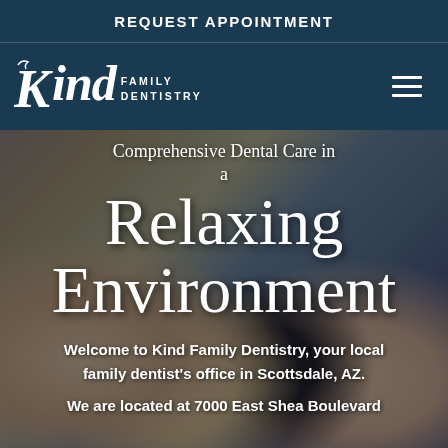REQUEST APPOINTMENT
[Figure (logo): Kind Family Dentistry logo with stylized 'Kind' in serif italic font and 'FAMILY DENTISTRY' stacked in small caps]
[Figure (photo): Group of four smiling young adults photographed outdoors, used as hero background image for a dental office website]
Comprehensive Dental Care in a Relaxing Environment
Welcome to Kind Family Dentistry, your local family dentist's office in Scottsdale, AZ.
We are located at 7000 East Shea Boulevard